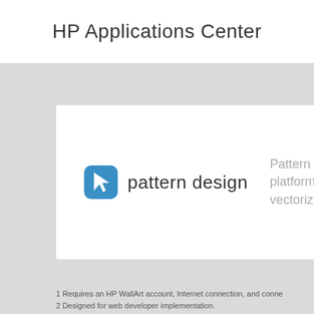HP Applications Center
[Figure (logo): Pattern design logo with blue rounded square icon containing a white cursor arrow, followed by text 'pattern design']
Pattern platform vectoriz
1 Requires an HP WallArt account, Internet connection, and conne
2 Designed for web developer implementation.